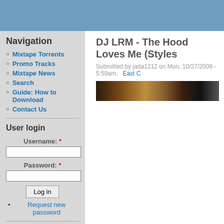[Figure (screenshot): Website header bar with blue-grey background]
Navigation
Mixtape Torrents
Promo Tracks
Mixtape News
Search
Guide: How to Download
Contact Us
User login
Username: *
Password: *
Log in
Request new password
DJ LRM - The Hood Loves Me (Styles
Submitted by jada1212 on Mon, 10/27/2008 - 5:59am.   East C
[Figure (photo): Album cover art image strip, dark brown and black tones]